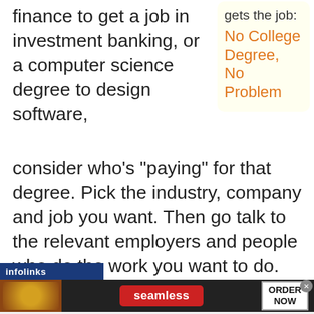finance to get a job in investment banking, or a computer science degree to design software, consider who’s “paying” for that degree. Pick the industry, company and job you want. Then go talk to the relevant employers and people who do the work you want to do.
[Figure (other): Sidebar box with cream/yellow background containing text 'gets the job:' and orange link text 'No College Degree, No Problem']
Ask them what sort of education is necessary, sufficient and useful. Thousands or hundreds of thousands of
[Figure (screenshot): Infolinks ad bar banner with Seamless food delivery advertisement showing pizza image, red Seamless button, and ORDER NOW button on dark background]